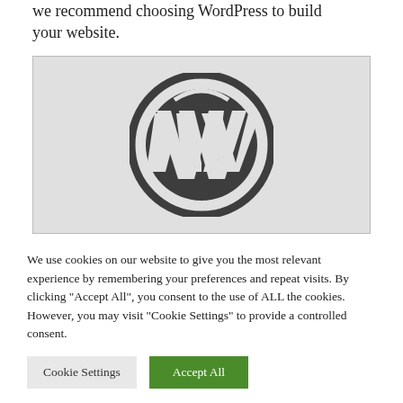we recommend choosing WordPress to build your website.
[Figure (logo): WordPress logo — dark circular ring with stylized W letter in center, on light gray background]
We use cookies on our website to give you the most relevant experience by remembering your preferences and repeat visits. By clicking "Accept All", you consent to the use of ALL the cookies. However, you may visit "Cookie Settings" to provide a controlled consent.
Cookie Settings | Accept All